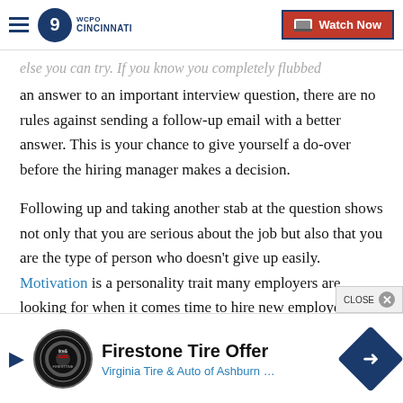WCPO Cincinnati — Watch Now
else you can try. If you know you completely flubbed an answer to an important interview question, there are no rules against sending a follow-up email with a better answer. This is your chance to give yourself a do-over before the hiring manager makes a decision.
Following up and taking another stab at the question shows not only that you are serious about the job but also that you are the type of person who doesn't give up easily. Motivation is a personality trait many employers are looking for when it comes time to hire new employees. Roughly 66% of employers in the
[Figure (screenshot): Firestone Tire Offer advertisement banner — Virginia Tire & Auto of Ashburn logo and text with play button and arrow sign icon]